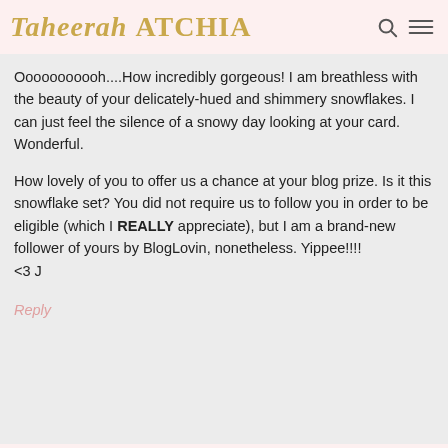Taheerah ATCHIA
Ooooooooooh....How incredibly gorgeous! I am breathless with the beauty of your delicately-hued and shimmery snowflakes. I can just feel the silence of a snowy day looking at your card. Wonderful.

How lovely of you to offer us a chance at your blog prize. Is it this snowflake set? You did not require us to follow you in order to be eligible (which I REALLY appreciate), but I am a brand-new follower of yours by BlogLovin, nonetheless. Yippee!!!!
<3 J
Reply